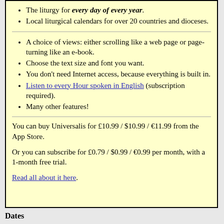The liturgy for every day of every year.
Local liturgical calendars for over 20 countries and dioceses.
A choice of views: either scrolling like a web page or page-turning like an e-book.
Choose the text size and font you want.
You don't need Internet access, because everything is built in.
Listen to every Hour spoken in English (subscription required).
Many other features!
You can buy Universalis for £10.99 / $10.99 / €11.99 from the App Store.
Or you can subscribe for £0.79 / $0.99 / €0.99 per month, with a 1-month free trial.
Read all about it here.
Dates